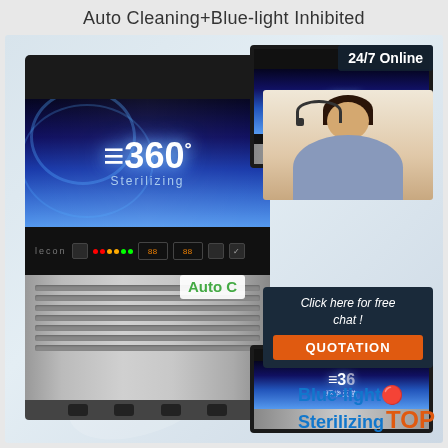Auto Cleaning+Blue-light Inhibited
[Figure (photo): Commercial ice maker machine with blue UV sterilizing light display showing '360° Sterilizing', lecon brand control panel, stainless steel lower body with grill vents. Right side shows two additional views of same machine, a customer service representative with headset, 'Auto C' text overlay, '24/7 Online' label, 'Click here for free chat!' text, orange QUOTATION button, and 'Blue-light Sterilizing TOP' branding at bottom right.]